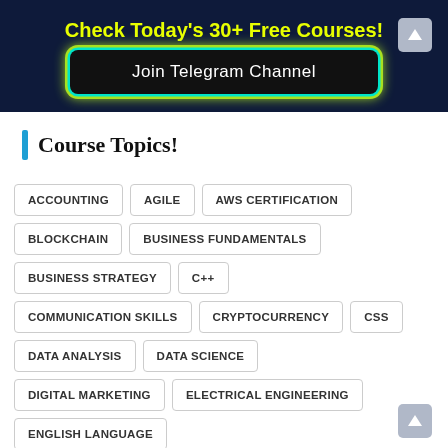Check Today's 30+ Free Courses!
Join Telegram Channel
Course Topics!
ACCOUNTING
AGILE
AWS CERTIFICATION
BLOCKCHAIN
BUSINESS FUNDAMENTALS
BUSINESS STRATEGY
C++
COMMUNICATION SKILLS
CRYPTOCURRENCY
CSS
DATA ANALYSIS
DATA SCIENCE
DIGITAL MARKETING
ELECTRICAL ENGINEERING
ENGLISH LANGUAGE
ENTREPRENEURSHIP FUNDAMENTALS
EXCEL